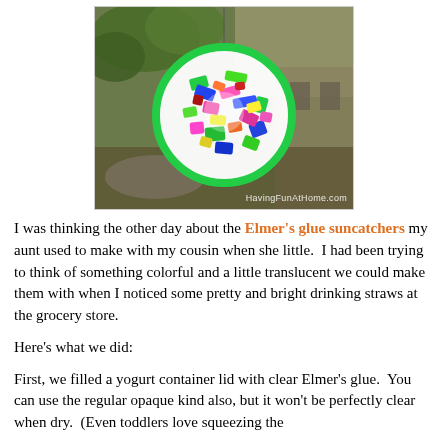[Figure (photo): A colorful suncatcher made from a circular mold filled with multicolored pieces (pink, blue, green, yellow) hanging outdoors with trees and a building in the background. Watermark reads HavingFunAtHome.com.]
I was thinking the other day about the Elmer's glue suncatchers my aunt used to make with my cousin when she little.  I had been trying to think of something colorful and a little translucent we could make them with when I noticed some pretty and bright drinking straws at the grocery store.
Here's what we did:
First, we filled a yogurt container lid with clear Elmer's glue.  You can use the regular opaque kind also, but it won't be perfectly clear when dry.  (Even toddlers love squeezing the